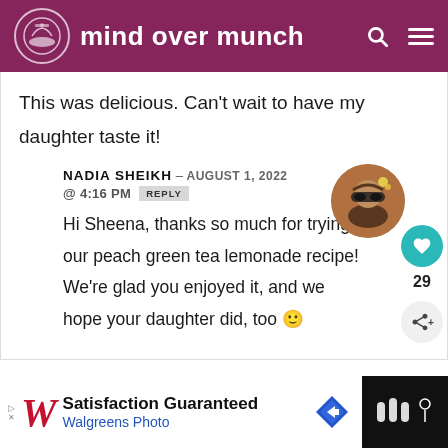mind over munch
This was delicious. Can't wait to have my daughter taste it!
NADIA SHEIKH – AUGUST 1, 2022 @ 4:16 PM REPLY
Hi Sheena, thanks so much for trying our peach green tea lemonade recipe! We're glad you enjoyed it, and we hope your daughter did, too 🙂
[Figure (photo): Round avatar photo of Nadia Sheikh wearing large sunglasses and a flower in hair]
[Figure (logo): Walgreens advertisement banner: Satisfaction Guaranteed, Walgreens Photo]